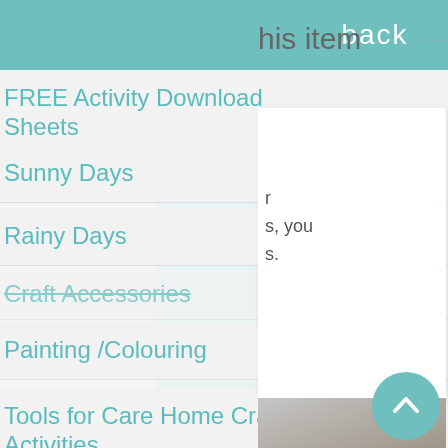back
FREE Activity Download Sheets
Sunny Days
Rainy Days
Craft Accessories
Painting /Colouring
Tools for Care Home Craft Activities
Care Home Activity Coordination for People with Dementia
Reminiscence Therapy
this item
ur
s, you
s.
[Figure (photo): Partial photo of craft/activity item in bottom right area]